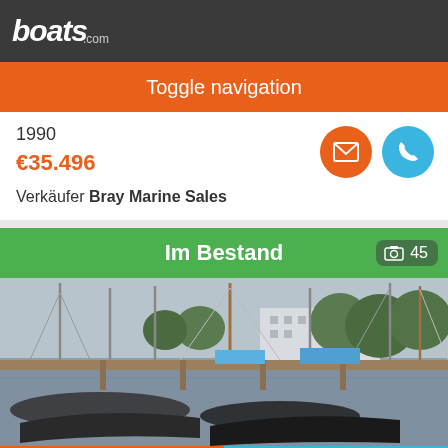boats.com
Toggle navigation
1990
€35.496
Verkäufer Bray Marine Sales
[Figure (screenshot): Orange mail icon circle button and blue phone icon circle button]
Im Bestand
[Figure (photo): Marina with sailboats and masts in foreground, building and trees in background, overcast sky]
Sortieren nach
Suche anpassen